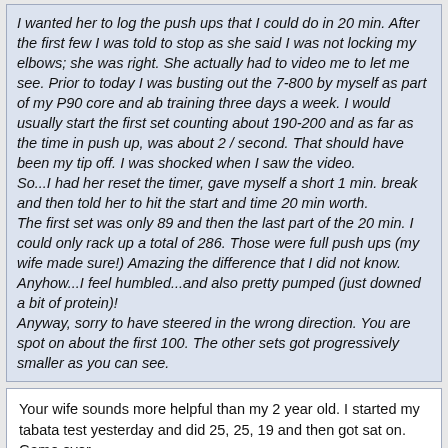I wanted her to log the push ups that I could do in 20 min. After the first few I was told to stop as she said I was not locking my elbows; she was right. She actually had to video me to let me see. Prior to today I was busting out the 7-800 by myself as part of my P90 core and ab training three days a week. I would usually start the first set counting about 190-200 and as far as the time in push up, was about 2 / second. That should have been my tip off. I was shocked when I saw the video.
So...I had her reset the timer, gave myself a short 1 min. break and then told her to hit the start and time 20 min worth.
The first set was only 89 and then the last part of the 20 min. I could only rack up a total of 286. Those were full push ups (my wife made sure!) Amazing the difference that I did not know. Anyhow...I feel humbled...and also pretty pumped (just downed a bit of protein)!
Anyway, sorry to have steered in the wrong direction. You are spot on about the first 100. The other sets got progressively smaller as you can see.
Your wife sounds more helpful than my 2 year old. I started my tabata test yesterday and did 25, 25, 19 and then got sat on. Game over.